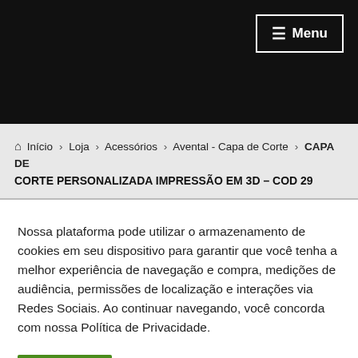Menu
🏠 Início > Loja > Acessórios > Avental - Capa de Corte > CAPA DE CORTE PERSONALIZADA IMPRESSÃO EM 3D – COD 29
Nossa plataforma pode utilizar o armazenamento de cookies em seu dispositivo para garantir que você tenha a melhor experiência de navegação e compra, medições de audiência, permissões de localização e interações via Redes Sociais. Ao continuar navegando, você concorda com nossa Política de Privacidade.
Aceitar